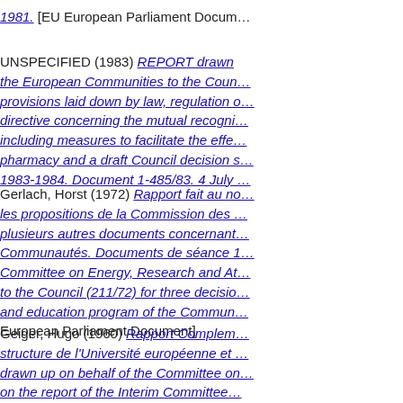1981. [EU European Parliament Docum...
UNSPECIFIED (1983) REPORT drawn ... the European Communities to the Coun... provisions laid down by law, regulation o... directive concerning the mutual recogni... including measures to facilitate the effe... pharmacy and a draft Council decision s... 1983-1984. Document 1-485/83. 4 July ...
Gerlach, Horst (1972) Rapport fait au no... les propositions de la Commission des ... plusieurs autres documents concernant... Communautés. Documents de séance 1... Committee on Energy, Research and At... to the Council (211/72) for three decisio... and education program of the Commun... European Parliament Document]
Geiger, Hugo (1960) Rapport Complem... structure de l'Université européenne et ... drawn up on behalf of the Committee on... on the report of the Interim Committee...